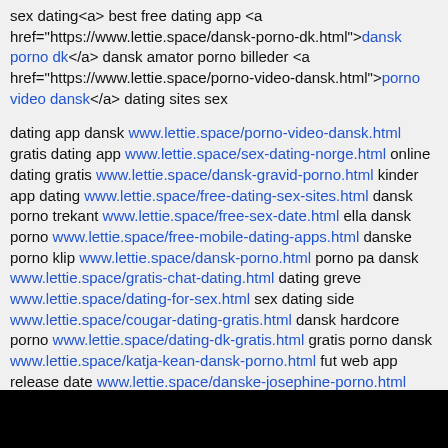sex dating<a> best free dating app <a href="https://www.lettie.space/dansk-porno-dk.html">dansk porno dk</a> dansk amator porno billeder <a href="https://www.lettie.space/porno-video-dansk.html">porno video dansk</a> dating sites sex
dating app dansk www.lettie.space/porno-video-dansk.html gratis dating app www.lettie.space/sex-dating-norge.html online dating gratis www.lettie.space/dansk-gravid-porno.html kinder app dating www.lettie.space/free-dating-sex-sites.html dansk porno trekant www.lettie.space/free-sex-date.html ella dansk porno www.lettie.space/free-mobile-dating-apps.html danske porno klip www.lettie.space/dansk-porno.html porno pa dansk www.lettie.space/gratis-chat-dating.html dating greve www.lettie.space/dating-for-sex.html sex dating side www.lettie.space/cougar-dating-gratis.html dansk hardcore porno www.lettie.space/dating-dk-gratis.html gratis porno dansk www.lettie.space/katja-kean-dansk-porno.html fut web app release date www.lettie.space/danske-josephine-porno.html danske barbie porno www.lettie.space/dating-sider-gratis.html se dansk porno www.lettie.space/dansk-gratis-porno.html dansk porno www.lettie.space/gratis-porno-danske-piger.html danske amator porno www.lettie.space/sex-pa-forste-date.html xxx dansk porno www.lettie.space/best-app-dating.html dating arhus www.lettie.space/porno-dansk-amator.html naughty date app www.lettie.space/sex-pa-forste-date.html dansk casting porno www.lettie.space/netdating.html danske porno